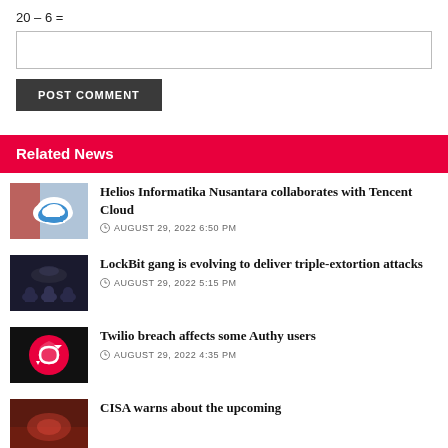[input box]
POST COMMENT
Related News
Helios Informatika Nusantara collaborates with Tencent Cloud
AUGUST 29, 2022 6:50 PM
LockBit gang is evolving to deliver triple-extortion attacks
AUGUST 29, 2022 5:15 PM
Twilio breach affects some Authy users
AUGUST 29, 2022 4:35 PM
CISA warns about the upcoming